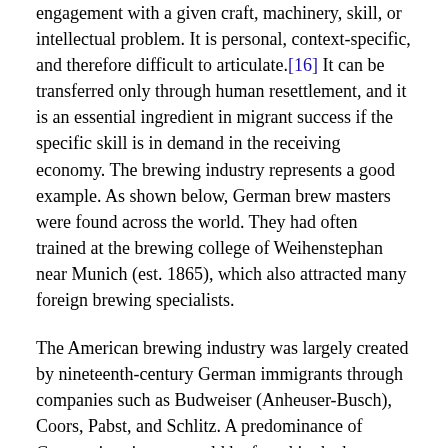...mind, the key to acquiring this living with engagement with a given craft, machinery, skill, or intellectual problem. It is personal, context-specific, and therefore difficult to articulate.[16] It can be transferred only through human resettlement, and it is an essential ingredient in migrant success if the specific skill is in demand in the receiving economy. The brewing industry represents a good example. As shown below, German brew masters were found across the world. They had often trained at the brewing college of Weihenstephan near Munich (est. 1865), which also attracted many foreign brewing specialists.
The American brewing industry was largely created by nineteenth-century German immigrants through companies such as Budweiser (Anheuser-Busch), Coors, Pabst, and Schlitz. A predominance of German immigrants could be found in the beer industries of other countries as well. In Brazil, Germans started brewing in the 1830s, developing large breweries such as Ritter in Rio Grande do Sul. Another example is Brahma, one of the two largest brewers in Brazil today. It started production in the 1880s